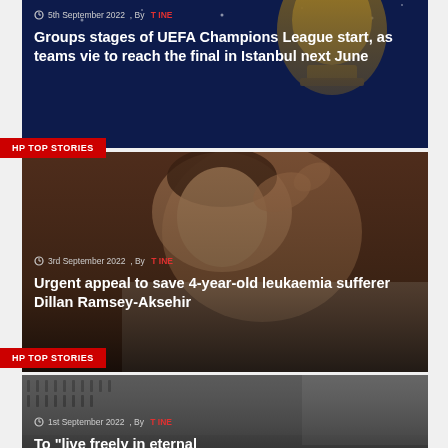[Figure (photo): UEFA Champions League trophy against dark blue starry background]
5th September 2022 , By T INE
Groups stages of UEFA Champions League start, as teams vie to reach the final in Istanbul next June
HP TOP STORIES
[Figure (photo): Young child (Dillan Ramsey-Aksehir) lying down, child with medical tubes, leukaemia patient]
3rd September 2022 , By T INE
Urgent appeal to save 4-year-old leukaemia sufferer Dillan Ramsey-Aksehir
HP TOP STORIES
[Figure (photo): Large group of military or police officers in formation, men in dark uniforms]
1st September 2022 , By T INE
To "live freely in eternal